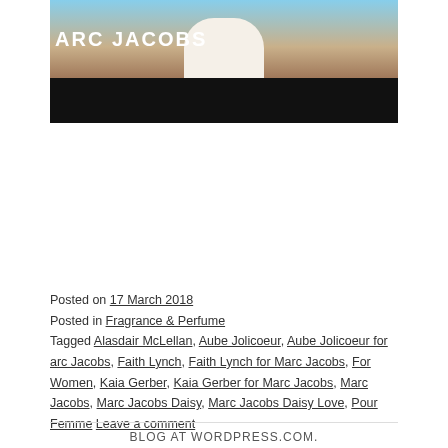[Figure (photo): Marc Jacobs brand image showing a person in a cream/white ribbed sweater with floral details against a blue sky background. The Marc Jacobs brand name is displayed in white text. The bottom portion of the image is black.]
Posted on 17 March 2018
Posted in Fragrance & Perfume
Tagged Alasdair McLellan, Aube Jolicoeur, Aube Jolicoeur for arc Jacobs, Faith Lynch, Faith Lynch for Marc Jacobs, For Women, Kaia Gerber, Kaia Gerber for Marc Jacobs, Marc Jacobs, Marc Jacobs Daisy, Marc Jacobs Daisy Love, Pour Femme Leave a comment
BLOG AT WORDPRESS.COM.